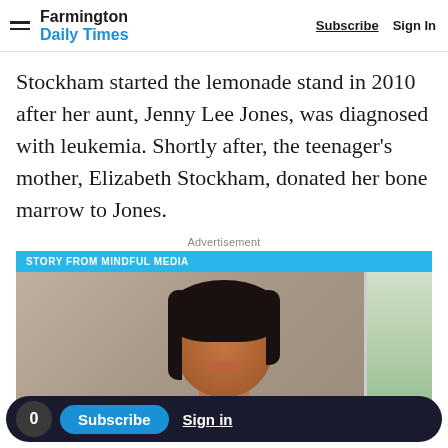Farmington Daily Times  Subscribe  Sign In
Stockham started the lemonade stand in 2010 after her aunt, Jenny Lee Jones, was diagnosed with leukemia. Shortly after, the teenager's mother, Elizabeth Stockham, donated her bone marrow to Jones.
Advertisement
[Figure (photo): Sponsored content card from Mindful Media showing a woman with dark hair smiling, with a window and greenery in background. Bottom of image shows text 'with BFRBs'.]
with BFRBs